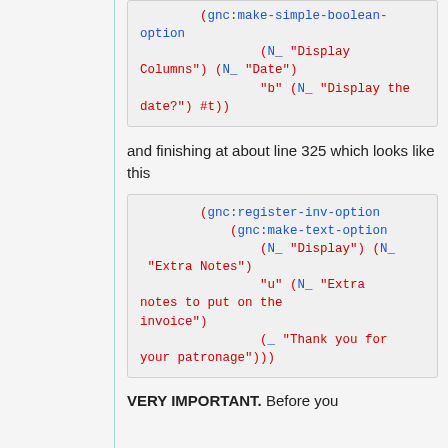[Figure (screenshot): Code block showing Scheme/GnuCash code: (gnc:make-simple-boolean-option (N_ "Display Columns") (N_ "Date") "b" (N_ "Display the date?") #t))]
and finishing at about line 325 which looks like this
[Figure (screenshot): Code block showing Scheme/GnuCash code: (gnc:register-inv-option (gnc:make-text-option (N_ "Display") (N_ "Extra Notes") "u" (N_ "Extra notes to put on the invoice") (_ "Thank you for your patronage")))]
VERY IMPORTANT. Before you